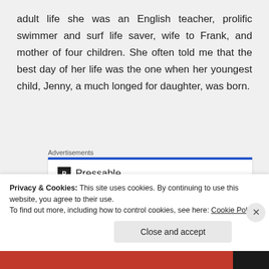adult life she was an English teacher, prolific swimmer and surf life saver, wife to Frank, and mother of four children. She often told me that the best day of her life was the one when her youngest child, Jenny, a much longed for daughter, was born.
[Figure (screenshot): Advertisement for Pressable with logo, dots, and headline 'The Platform Where WordPress']
Privacy & Cookies: This site uses cookies. By continuing to use this website, you agree to their use.
To find out more, including how to control cookies, see here: Cookie Policy